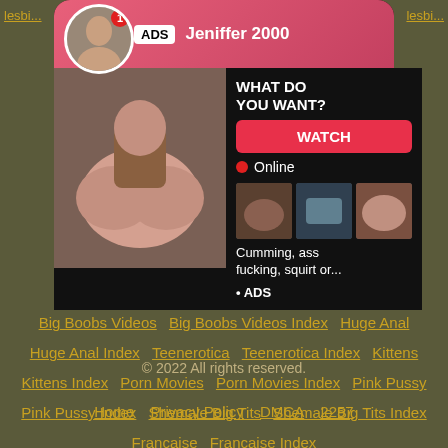[Figure (screenshot): Advertisement overlay with profile avatar, ADS badge, name Jeniffer 2000, adult content images, WHAT DO YOU WANT? text, WATCH button, Online indicator, thumbnail images, description text, ADS label]
Big Boobs Videos   Big Boobs Videos Index   Huge Anal   Huge Anal Index   Teenerotica   Teenerotica Index   Kittens   Kittens Index   Porn Movies   Porn Movies Index   Pink Pussy   Pink Pussy Index   Shemale Big Tits   Shemale Big Tits Index   Francaise   Francaise Index
© 2022 All rights reserved.
Home   Privacy Policy   DMCA   2257